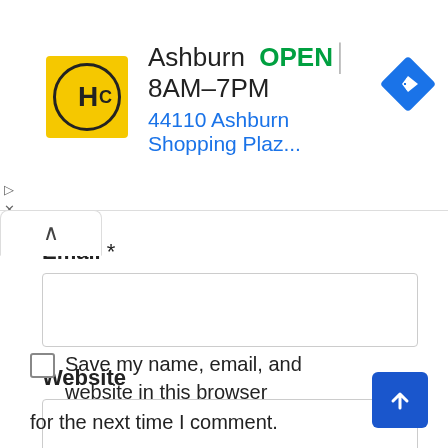[Figure (screenshot): Advertisement banner for Hairclub (HC) showing Ashburn location, OPEN status, hours 8AM-7PM, address 44110 Ashburn Shopping Plaz..., with yellow HC logo and blue navigation diamond icon]
Email *
[Figure (screenshot): Empty email input text field]
Website
[Figure (screenshot): Empty website input text field]
Save my name, email, and website in this browser for the next time I comment.